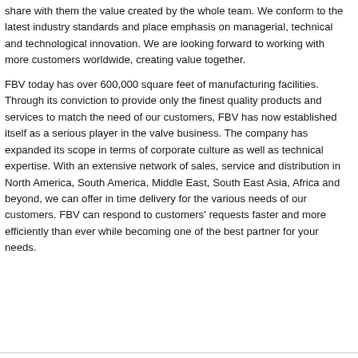share with them the value created by the whole team. We conform to the latest industry standards and place emphasis on managerial, technical and technological innovation. We are looking forward to working with more customers worldwide, creating value together.
FBV today has over 600,000 square feet of manufacturing facilities. Through its conviction to provide only the finest quality products and services to match the need of our customers, FBV has now established itself as a serious player in the valve business. The company has expanded its scope in terms of corporate culture as well as technical expertise. With an extensive network of sales, service and distribution in North America, South America, Middle East, South East Asia, Africa and beyond, we can offer in time delivery for the various needs of our customers. FBV can respond to customers' requests faster and more efficiently than ever while becoming one of the best partner for your needs.